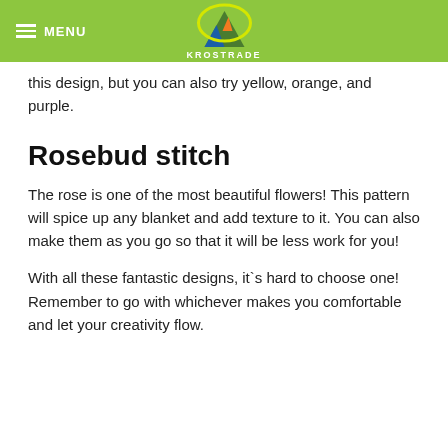MENU | KROSTRADE
this design, but you can also try yellow, orange, and purple.
Rosebud stitch
The rose is one of the most beautiful flowers! This pattern will spice up any blanket and add texture to it. You can also make them as you go so that it will be less work for you!
With all these fantastic designs, it`s hard to choose one! Remember to go with whichever makes you comfortable and let your creativity flow.